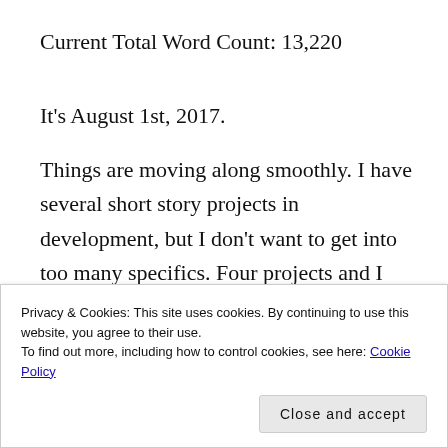Current Total Word Count: 13,220
It's August 1st, 2017.
Things are moving along smoothly. I have several short story projects in development, but I don't want to get into too many specifics. Four projects and I hope all four of them get
Privacy & Cookies: This site uses cookies. By continuing to use this website, you agree to their use.
To find out more, including how to control cookies, see here: Cookie Policy
Close and accept